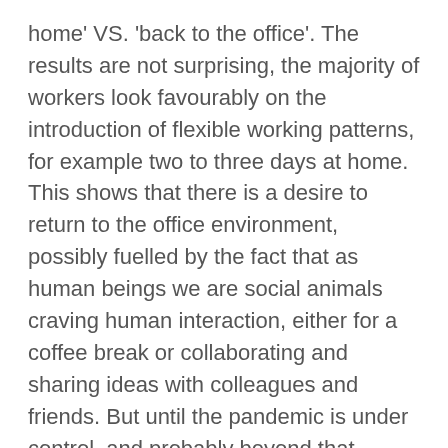home' VS. 'back to the office'. The results are not surprising, the majority of workers look favourably on the introduction of flexible working patterns, for example two to three days at home. This shows that there is a desire to return to the office environment, possibly fuelled by the fact that as human beings we are social animals craving human interaction, either for a coffee break or collaborating and sharing ideas with colleagues and friends. But until the pandemic is under control, and probably beyond that, teams are likely to be a mix of home and office workers (a hybrid team).
First of all, we need to accept that there is no going back to the previous 'normal' / 'office